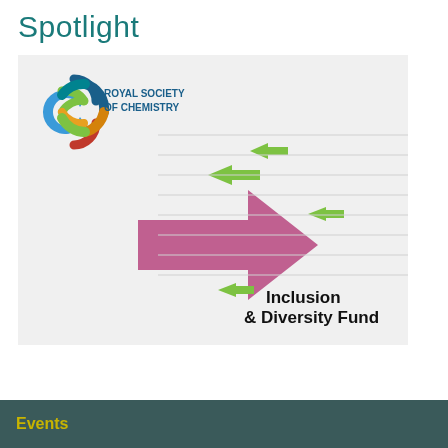Spotlight
[Figure (logo): Royal Society of Chemistry Inclusion & Diversity Fund promotional image with RSC logo, green arrows pointing left and a large pink arrow pointing right, on a light grey background.]
Events